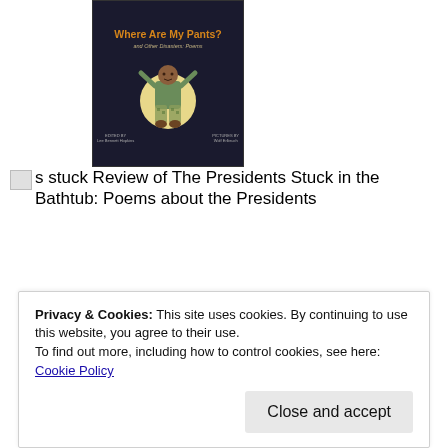[Figure (illustration): Book cover of 'Where Are My Pants? and Other Disasters: Poems' with a dark background, title in orange text, subtitle in tan italic text, and an illustration of a child with arms raised.]
s stuck Review of The Presidents Stuck in the Bathtub: Poems about the Presidents
and a better world.
Apply
[Figure (photo): Circular cropped photo of a man with beard and glasses, thinking pose with hand to chin, wearing a light beige shirt.]
Privacy & Cookies: This site uses cookies. By continuing to use this website, you agree to their use.
To find out more, including how to control cookies, see here: Cookie Policy
Close and accept